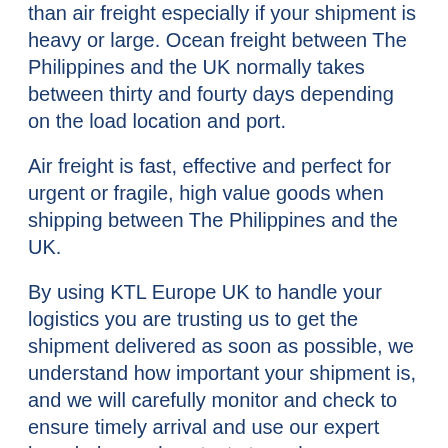than air freight especially if your shipment is heavy or large.  Ocean freight between The Philippines and the UK normally takes between thirty and fourty days depending on the load location and port.
Air freight is fast, effective and perfect for urgent or fragile, high value goods when shipping between The Philippines and the UK.
By using KTL Europe UK  to handle your logistics you are trusting us to get the shipment delivered as soon as possible, we understand how important your shipment is, and we will carefully monitor and check to ensure timely arrival and use our expert knowledge and contacts to make sure cargo arrives on time.
Our negotiated rates with various agents, airlines